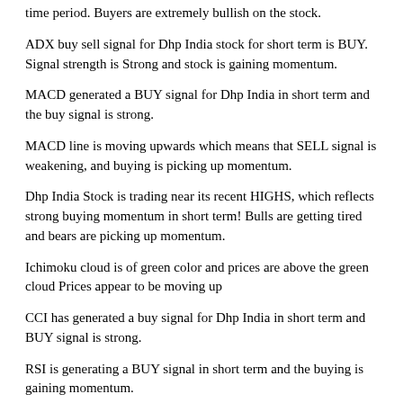time period. Buyers are extremely bullish on the stock.
ADX buy sell signal for Dhp India stock for short term is BUY. Signal strength is Strong and stock is gaining momentum.
MACD generated a BUY signal for Dhp India in short term and the buy signal is strong.
MACD line is moving upwards which means that SELL signal is weakening, and buying is picking up momentum.
Dhp India Stock is trading near its recent HIGHS, which reflects strong buying momentum in short term! Bulls are getting tired and bears are picking up momentum.
Ichimoku cloud is of green color and prices are above the green cloud Prices appear to be moving up
CCI has generated a buy signal for Dhp India in short term and BUY signal is strong.
RSI is generating a BUY signal in short term and the buying is gaining momentum.
MRSI is in negative zone. This is the SELL zone
Stock of Dhp India is picking up buying momentum according to indicator.